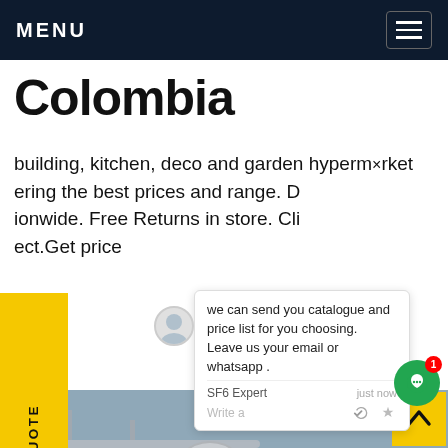MENU
Colombia
building, kitchen, deco and garden hypermarket offering the best prices and range. Nationwide. Free Returns in store. Cli ect.Get price
[Figure (screenshot): Chat popup overlay with avatar, message about catalogue and price list, SF6 Expert agent label, just now timestamp, write a field with like and attach icons]
[Figure (photo): Industrial site photo showing gas cylinders, large cylindrical tanks, scaffolding, and a worker in blue coveralls]